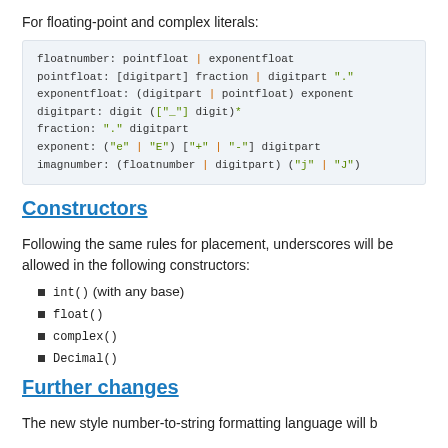For floating-point and complex literals:
[Figure (other): Code block showing grammar rules for floatnumber, pointfloat, exponentfloat, digitpart, fraction, exponent, imagnumber with pipe separators and string literals highlighted in green and orange]
Constructors
Following the same rules for placement, underscores will be allowed in the following constructors:
int() (with any base)
float()
complex()
Decimal()
Further changes
The new style number-to-string formatting language will b...